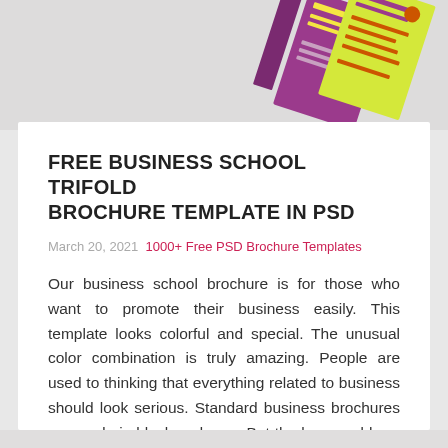[Figure (photo): Top portion of a colorful trifold brochure template mockup showing purple and yellow-green panels with text, angled on a light grey background]
FREE BUSINESS SCHOOL TRIFOLD BROCHURE TEMPLATE IN PSD
March 20, 2021  1000+ Free PSD Brochure Templates
Our business school brochure is for those who want to promote their business easily. This template looks colorful and special. The unusual color combination is truly amazing. People are used to thinking that everything related to business should look serious. Standard business brochures are made in black and grey. But the key word here is [...]
> Read More